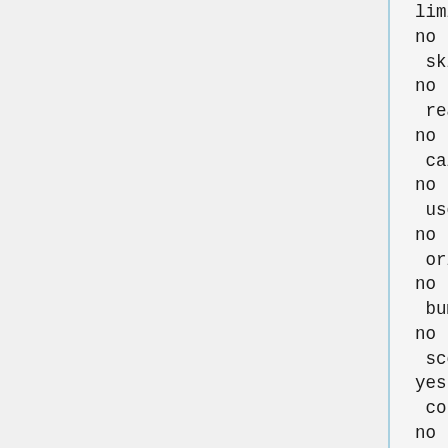limit_max_ligands
no
 skip_molecule
no
 read_mol_solvation
no
 calculate_rmsd
no
 use_database_filter
no
 orient_ligand
no
 bump_filter
no
 score_molecules
yes
 contact_score_primary
no
 contact_score_secondary
no
 grid_score_primary
no
 grid_score_secondary
no
 multigrid_score_primary